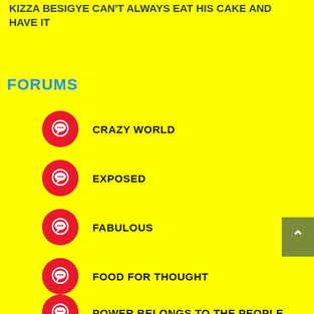KIZZA BESIGYE CAN'T ALWAYS EAT HIS CAKE AND HAVE IT
FORUMS
CRAZY WORLD
EXPOSED
FABULOUS
FOOD FOR THOUGHT
POWER BELONGS TO THE PEOPLE